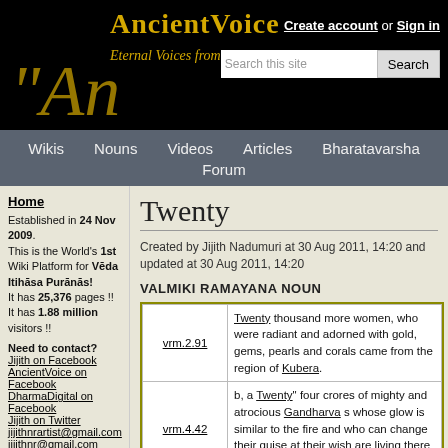AncientVoice — Eternal Voices from the Past
[Figure (screenshot): AncientVoice website header banner with logo and search bar]
Wikis | Nouns | Videos | Articles | Bharatavarsha | Forum
Home
Established in 24 Nov 2009. This is the World's 1st Wiki Platform for Veda Itihasa Puranas! It has 25,376 pages!! It has 1.88 million visitors!!
Need to contact?
Jijith on Facebook
AncientVoice on Facebook
DharmaDigital on Facebook
Jijith on Twitter
jijithnrartist@gmail.com
jijithnr@gmail.com
Twenty
Created by Jijith Nadumuri at 30 Aug 2011, 14:20 and updated at 30 Aug 2011, 14:20
VALMIKI RAMAYANA NOUN
| Reference | Text |
| --- | --- |
| vrm.2.91 | Twenty thousand more women, who were radiant and adorned with gold, gems, pearls and corals came from the region of Kubera. |
| vrm.4.42 | b, a Twenty" four crores of mighty and atrocious Gandharva s whose glow is similar to the fire and who can change their guise at their wish are living there on that mountain Paariyaatra. |